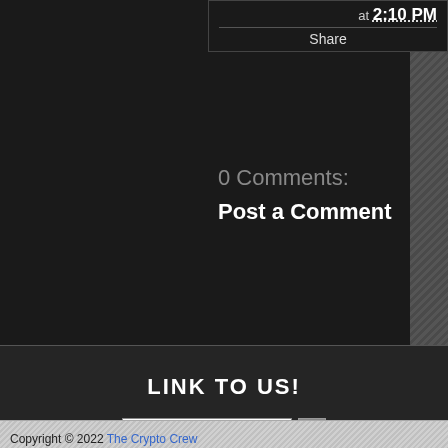at 2:10 PM
Share
0 Comments:
Post a Comment
LINK TO US!
[Figure (other): Dropdown selector showing 'Home' with arrow button]
Copyright © 2022 The Crypto Crew
Powered by Blogger